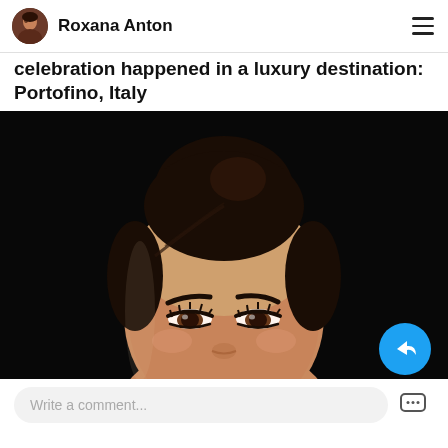Roxana Anton
celebration happened in a luxury destination: Portofino, Italy
[Figure (photo): Close-up portrait photo of a young woman with dark hair pulled up in a bun, wearing makeup, against a black background]
Write a comment...